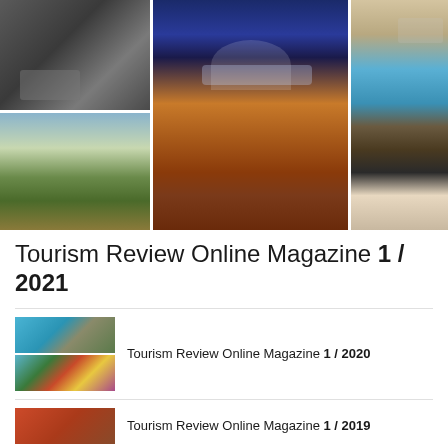[Figure (photo): Collage of travel photos: airplane interior, mountain valley, city at night, laptop with world map]
Tourism Review Online Magazine 1 / 2021
[Figure (photo): Small thumbnails for Tourism Review Online Magazine 1/2020 - beach/crowd scene and sunglasses/nails]
Tourism Review Online Magazine 1 / 2020
[Figure (photo): Small thumbnail for Tourism Review Online Magazine 1/2019]
Tourism Review Online Magazine 1 / 2019